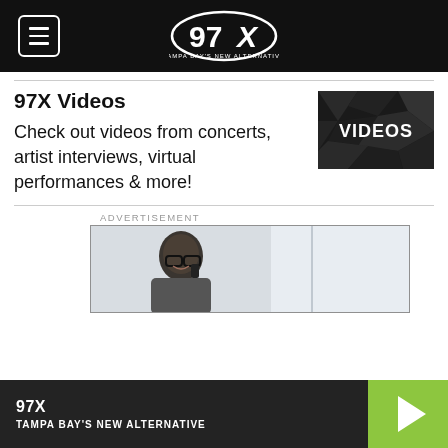97X — Tampa Bay's New Alternative (navigation bar with logo)
97X Videos
[Figure (photo): Videos thumbnail image — dark/black background with 'VIDEOS' text in bold white letters]
Check out videos from concerts, artist interviews, virtual performances & more!
ADVERTISEMENT
[Figure (photo): Advertisement image showing a man with glasses talking on a phone, smiling, in a bright setting]
97X — TAMPA BAY'S NEW ALTERNATIVE (player bar with play button)